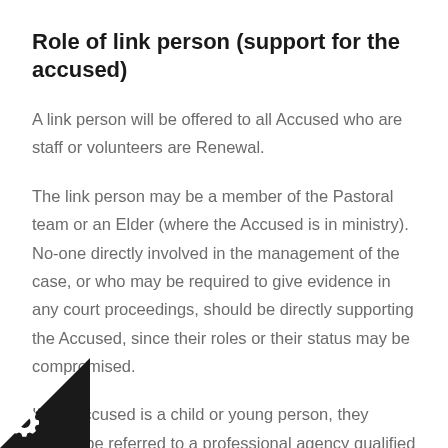Role of link person (support for the accused)
A link person will be offered to all Accused who are staff or volunteers are Renewal.
The link person may be a member of the Pastoral team or an Elder (where the Accused is in ministry). No-one directly involved in the management of the case, or who may be required to give evidence in any court proceedings, should be directly supporting the Accused, since their roles or their status may be compromised.
If the Accused is a child or young person, they should be referred to a professional agency qualified to